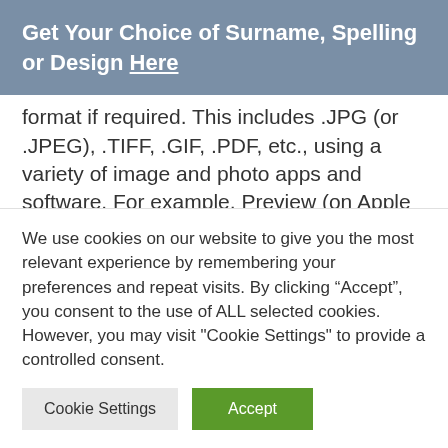Get Your Choice of Surname, Spelling or Design Here
format if required. This includes .JPG (or .JPEG), .TIFF, .GIF, .PDF, etc., using a variety of image and photo apps and software. For example, Preview (on Apple Mac) and Windows Paint), popular graphics software including Photoshop (& Elements), GIMP and similar. Images can also be saved into another format using a free online image
We use cookies on our website to give you the most relevant experience by remembering your preferences and repeat visits. By clicking “Accept”, you consent to the use of ALL selected cookies. However, you may visit "Cookie Settings" to provide a controlled consent.